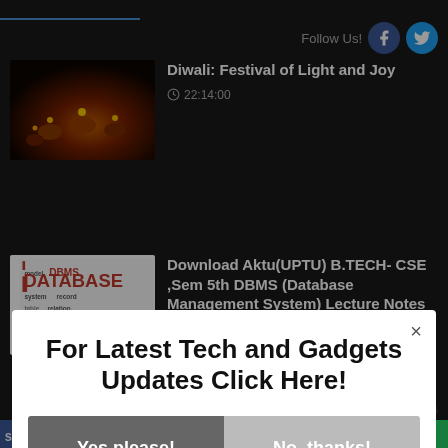Follow Us!
[Figure (screenshot): Diwali festival thumbnail with lamps glowing orange and red]
Diwali: Festival of Light and Joy
22:14:00
[Figure (photo): DBMS Database word cloud thumbnail with red text on white background]
Download Aktu(UPTU) B.TECH- CSE ,Sem 5th DBMS (Database Management System) Lecture Notes
For Latest Tech and Gadgets Updates Click Here!
Yes please!
No, thanks!
AddThis